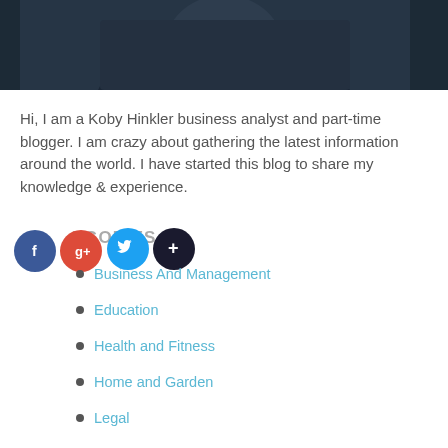[Figure (photo): Partial photo of a person wearing a dark navy top, cropped to show upper body and chin area, dark background]
Hi, I am a Koby Hinkler business analyst and part-time blogger. I am crazy about gathering the latest information around the world. I have started this blog to share my knowledge & experience.
CATEGORIES
Business And Management
Education
Health and Fitness
Home and Garden
Legal
Main
Marketing and Advertising
online shopping